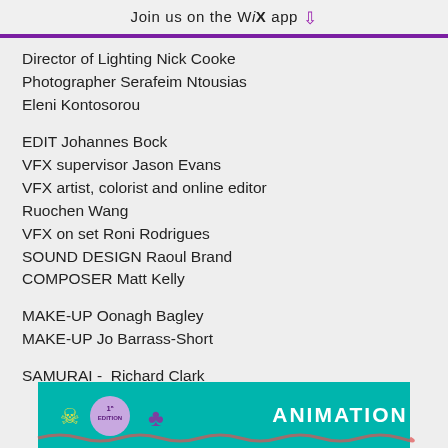Join us on the WiX app ↓
Director of Lighting Nick Cooke
Photographer Serafeim Ntousias
Eleni Kontosorou
EDIT Johannes Bock
VFX supervisor Jason Evans
VFX artist, colorist and online editor
Ruochen Wang
VFX on set Roni Rodrigues
SOUND DESIGN Raoul Brand
COMPOSER Matt Kelly
MAKE-UP Oonagh Bagley
MAKE-UP Jo Barrass-Short
SAMURAI -  Richard Clark
HANDSOME MAN - David R. Butler
[Figure (other): Teal/turquoise banner with skull icon, edition badge, flower icon, and bold white text reading ANIMATION]